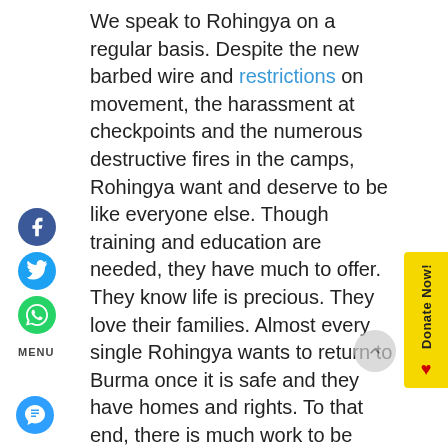We speak to Rohingya on a regular basis. Despite the new barbed wire and restrictions on movement, the harassment at checkpoints and the numerous destructive fires in the camps, Rohingya want and deserve to be like everyone else. Though training and education are needed, they have much to offer. They know life is precious. They love their families. Almost every single Rohingya wants to return to Burma once it is safe and they have homes and rights. To that end, there is much work to be done. In the meantime, let's work together to easing their pains, and not make their lives more miserable.